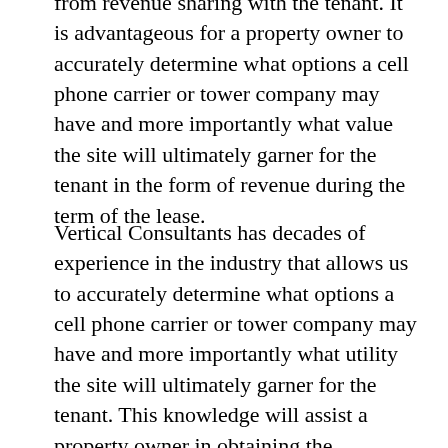from revenue sharing with the tenant. It is advantageous for a property owner to accurately determine what options a cell phone carrier or tower company may have and more importantly what value the site will ultimately garner for the tenant in the form of revenue during the term of the lease.
Vertical Consultants has decades of experience in the industry that allows us to accurately determine what options a cell phone carrier or tower company may have and more importantly what utility the site will ultimately garner for the tenant. This knowledge will assist a property owner in obtaining the favorable terms in any lease negotiation, including, but not being limited to, its ability to request revenue sharing from a tenant.